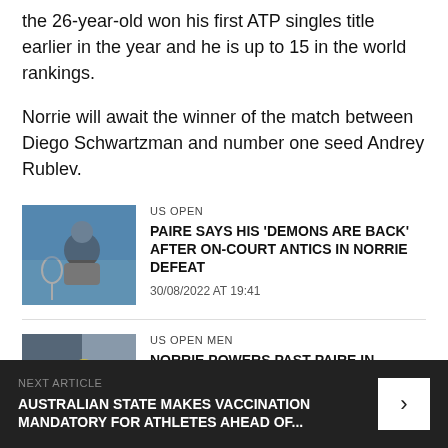the 26-year-old won his first ATP singles title earlier in the year and he is up to 15 in the world rankings.
Norrie will await the winner of the match between Diego Schwartzman and number one seed Andrey Rublev.
US OPEN
PAIRE SAYS HIS 'DEMONS ARE BACK' AFTER ON-COURT ANTICS IN NORRIE DEFEAT
30/08/2022 AT 19:41
US OPEN MEN
NORRIE POWERS PAST PAIRE IN STRAIGHT SETS INCLUDING TWO BAGELS
NEXT ARTICLE
AUSTRALIAN STATE MAKES VACCINATION MANDATORY FOR ATHLETES AHEAD OF...